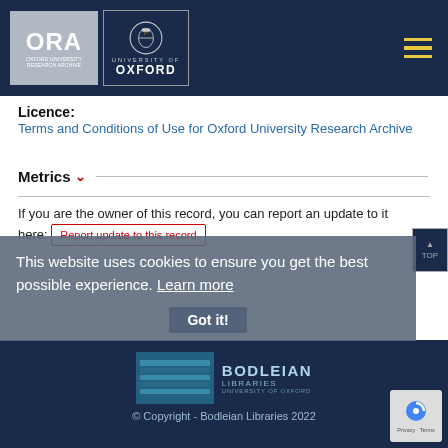[Figure (logo): ORA Oxford University Research Archive logo and University of Oxford crest logo in dark navy header bar with hamburger menu icon]
Licence:
Terms and Conditions of Use for Oxford University Research Archive
Metrics ∨
If you are the owner of this record, you can report an update to it here:
Report update to this record
This website uses cookies to ensure you get the best possible experience. Learn more
Got it!
[Figure (logo): Bodleian Libraries logo in dark navy footer]
© Copyright - Bodleian Libraries 2022